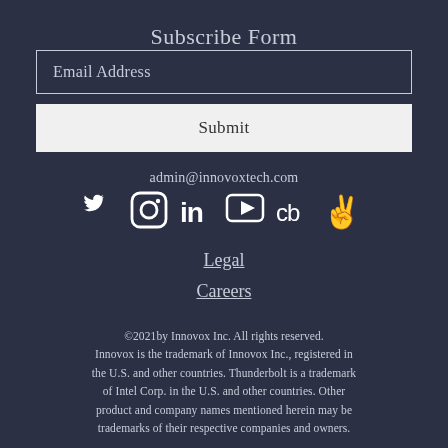Subscribe Form
Email Address
Submit
admin@innovoxtech.com
[Figure (illustration): Row of six social media icons: Twitter, Instagram, LinkedIn, YouTube, Crunchbase, Product Hunt]
Legal
Careers
©2021by Innovox Inc. All rights reserved. Innovox is the trademark of Innovox Inc., registered in the U.S. and other countries. Thunderbolt is a trademark of Intel Corp. in the U.S. and other countries. Other product and company names mentioned herein may be trademarks of their respective companies and owners.